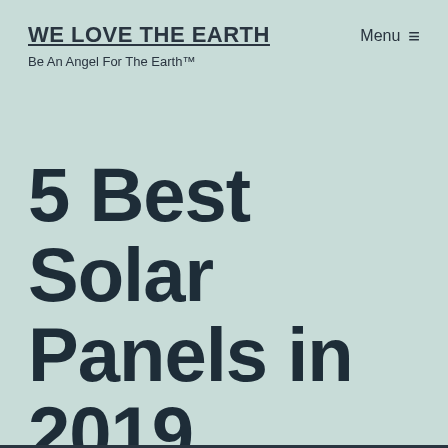WE LOVE THE EARTH
Be An Angel For The Earth™
Menu ≡
5 Best Solar Panels in 2019